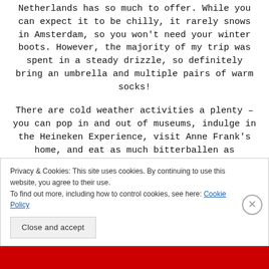Netherlands has so much to offer. While you can expect it to be chilly, it rarely snows in Amsterdam, so you won't need your winter boots. However, the majority of my trip was spent in a steady drizzle, so definitely bring an umbrella and multiple pairs of warm socks!
There are cold weather activities a plenty – you can pop in and out of museums, indulge in the Heineken Experience, visit Anne Frank's home, and eat as much bitterballen as possible. If you happen to find yourself in this city between November 29 – January 20 this year, be sure to check out Amsterdam's Light Festival
Privacy & Cookies: This site uses cookies. By continuing to use this website, you agree to their use.
To find out more, including how to control cookies, see here: Cookie Policy
Close and accept